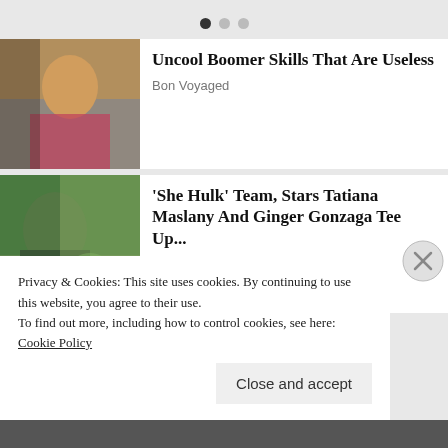[Figure (other): Three pagination dots at top center, first filled, two empty]
[Figure (photo): Blonde woman in pink and black outfit, article thumbnail for Uncool Boomer Skills]
Uncool Boomer Skills That Are Useless
Bon Voyaged
[Figure (photo): Green She-Hulk character looking at someone, article thumbnail]
'She Hulk' Team, Stars Tatiana Maslany And Ginger Gonzaga Tee Up...
Shadow and Act
Privacy & Cookies: This site uses cookies. By continuing to use this website, you agree to their use.
To find out more, including how to control cookies, see here:
Cookie Policy
Close and accept